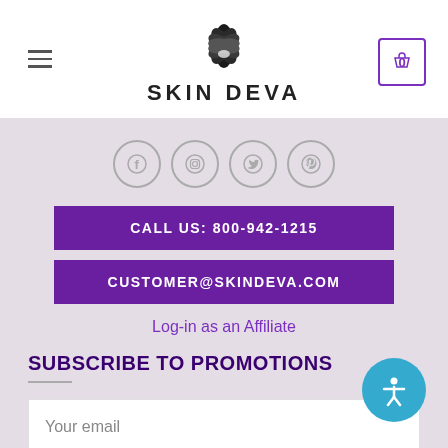[Figure (logo): Skin Deva logo with lotus flower graphic and text SKIN DEVA]
[Figure (infographic): Social media icons row: Facebook, Instagram, Twitter, Pinterest]
CALL US: 800-942-1215
CUSTOMER@SKINDEVA.COM
Log-in as an Affiliate
SUBSCRIBE TO PROMOTIONS
Your email
SUBSCRIBE